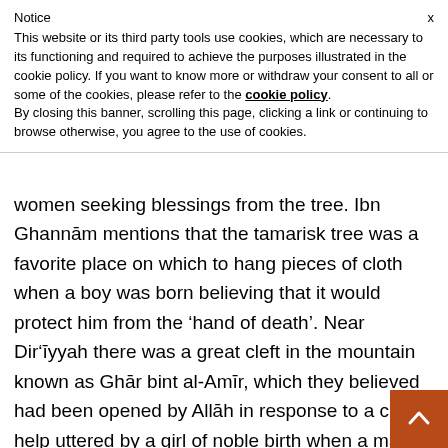Notice
This website or its third party tools use cookies, which are necessary to its functioning and required to achieve the purposes illustrated in the cookie policy. If you want to know more or withdraw your consent to all or some of the cookies, please refer to the cookie policy.
By closing this banner, scrolling this page, clicking a link or continuing to browse otherwise, you agree to the use of cookies.
women seeking blessings from the tree. Ibn Ghannām mentions that the tamarisk tree was a favorite place on which to hang pieces of cloth when a boy was born believing that it would protect him from the ‘hand of death’. Near Dir‘īyyah there was a great cleft in the mountain known as Ghār bint al-Amīr, which they believed had been opened by Allāh in response to a cry for help uttered by a girl of noble birth when a man tried to take her honour – so people would visit the cave and how a great would seek affection. Some